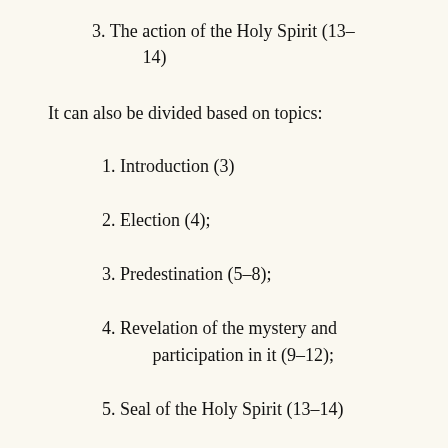3. The action of the Holy Spirit (13–14)
It can also be divided based on topics:
1. Introduction (3)
2. Election (4);
3. Predestination (5–8);
4. Revelation of the mystery and participation in it (9–12);
5. Seal of the Holy Spirit (13–14)